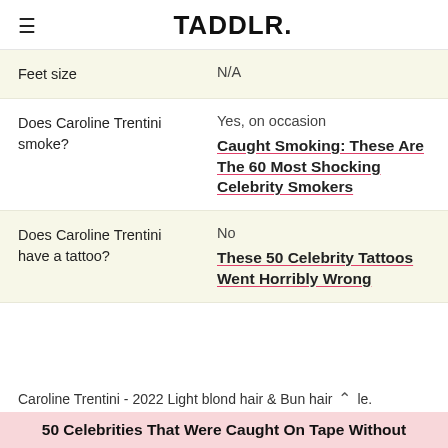TADDLR.
| Question | Answer |
| --- | --- |
| Feet size | N/A |
| Does Caroline Trentini smoke? | Yes, on occasion
Caught Smoking: These Are The 60 Most Shocking Celebrity Smokers |
| Does Caroline Trentini have a tattoo? | No
These 50 Celebrity Tattoos Went Horribly Wrong |
Caroline Trentini - 2022 Light blond hair & Bun hair le.
50 Celebrities That Were Caught On Tape Without